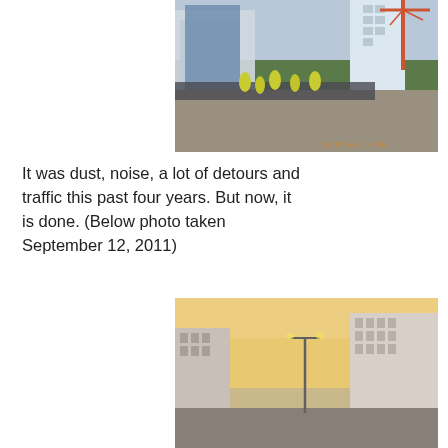[Figure (photo): Construction site photo dated 9/18/2007 14:55 showing workers in yellow safety vests and helmets working along a road with metal barriers, cranes and tall buildings visible in the background.]
It was dust, noise, a lot of detours and traffic this past four years. But now, it is done. (Below photo taken September 12, 2011)
[Figure (photo): Street-level photo taken September 12, 2011 showing a completed urban road with multi-story residential buildings on both sides, a street lamp visible, warm sunset light in the background.]